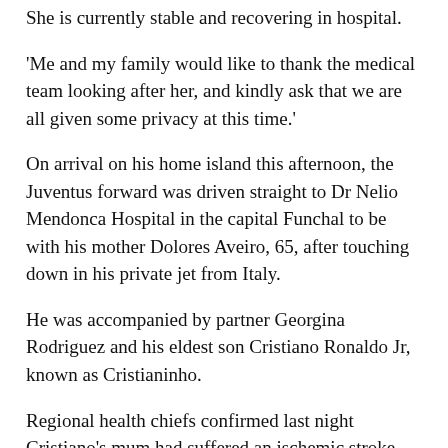She is currently stable and recovering in hospital.
'Me and my family would like to thank the medical team looking after her, and kindly ask that we are all given some privacy at this time.'
On arrival on his home island this afternoon, the Juventus forward was driven straight to Dr Nelio Mendonca Hospital in the capital Funchal to be with his mother Dolores Aveiro, 65, after touching down in his private jet from Italy.
He was accompanied by partner Georgina Rodriguez and his eldest son Cristiano Ronaldo Jr, known as Cristianinho.
Regional health chiefs confirmed last night Cristiano's mum had suffered an ischemic stroke, which is caused by a blood clot that blocks or plugs a blood vessel in the brain.